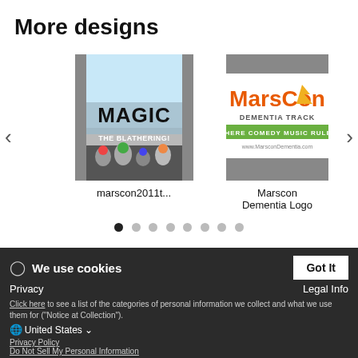More designs
[Figure (illustration): Card showing Magic: The Blathering parody design with cartoon characters and bold MAGIC text]
marscon2011t...
[Figure (logo): Marscon Dementia Logo with orange MarsCon text, 'DEMENTIA TRACK' and 'WHERE COMEDY MUSIC RULES', grey header/footer bars]
Marscon Dementia Logo
We use cookies
Click here to see a list of the categories of personal information we collect and what we use them for ("Notice at Collection").
Privacy Policy
Do Not Sell My Personal Information
By using this website, I agree to the Terms and Conditions
Privacy
Legal Info
United States
Contact information
Terms & Conditions
Help
Shipping costs and shipping